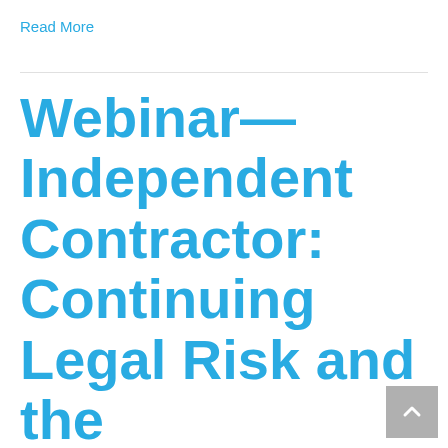Read More
Webinar—Independent Contractor: Continuing Legal Risk and the